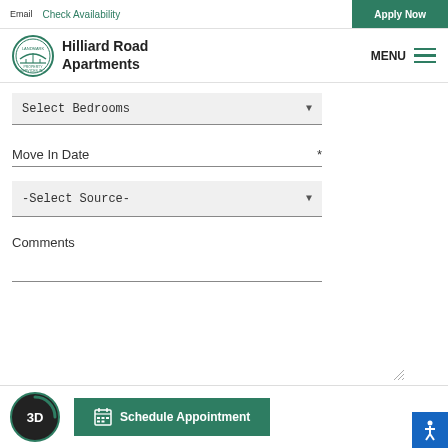Email
Check Availability
Apply Now
[Figure (logo): Landmark Property Services Inc. circular logo with bridge illustration]
Hilliard Road Apartments
MENU
Select Bedrooms
Move In Date *
-Select Source-
Comments
3D
Schedule Appointment